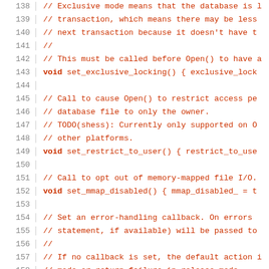Source code listing, lines 138–159, showing C++ class method declarations with comments
138   // Exclusive mode means that the database is l
139   // transaction, which means there may be less
140   // next transaction because it doesn't have t
141   //
142   // This must be called before Open() to have a
143   void set_exclusive_locking() { exclusive_lock
144
145   // Call to cause Open() to restrict access pe
146   // database file to only the owner.
147   // TODO(shess): Currently only supported on O
148   // other platforms.
149   void set_restrict_to_user() { restrict_to_use
150
151   // Call to opt out of memory-mapped file I/O.
152   void set_mmap_disabled() { mmap_disabled_ = t
153
154   // Set an error-handling callback.  On errors
155   // statement, if available) will be passed to
156   //
157   // If no callback is set, the default action i
158   // mode or return failure in release mode.
159   typedef base::Callback<void(int, Statement*)>